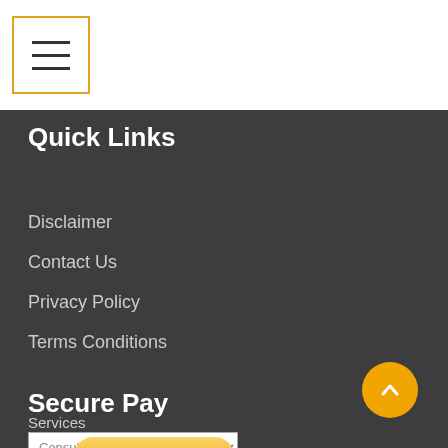[Figure (other): Hamburger menu button with three horizontal lines inside an orange-bordered square box]
Quick Links
Disclaimer
Contact Us
Privacy Policy
Terms Conditions
Secure Pay
Services
[Figure (other): Dropdown select box showing 'Consultancy Services']
[Figure (other): Orange 'Buy Now' button with italic bold dark blue text]
[Figure (other): Orange circular scroll-to-top button with upward chevron arrow]